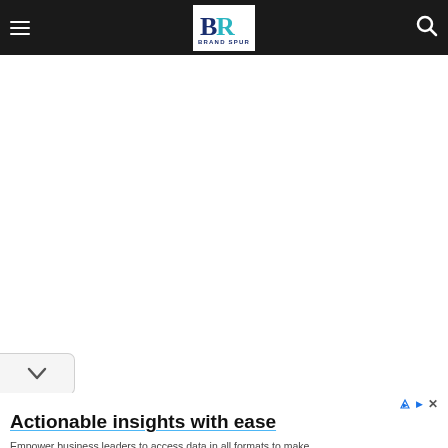Brand Spur - navigation bar with hamburger menu and search icon
[Figure (logo): Brand Spur logo — stylized BR letters in dark navy and teal, with 'BRAND SPUR' text below]
[Figure (screenshot): Dropdown chevron tab element on left side]
Actionable insights with ease
Empower business leaders to access data in all formats to make insightful decision faster. Sense Forth
Open